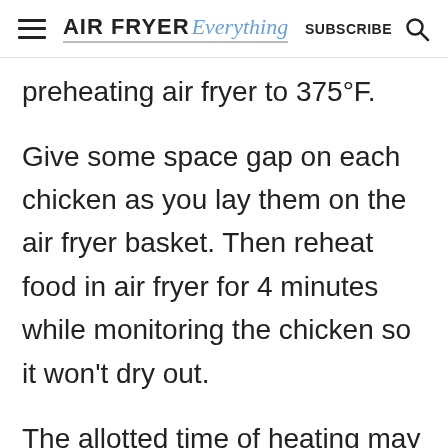AIR FRYER Everything | SUBSCRIBE
preheating air fryer to 375°F.
Give some space gap on each chicken as you lay them on the air fryer basket. Then reheat food in air fryer for 4 minutes while monitoring the chicken so it won't dry out.
The allotted time of heating may